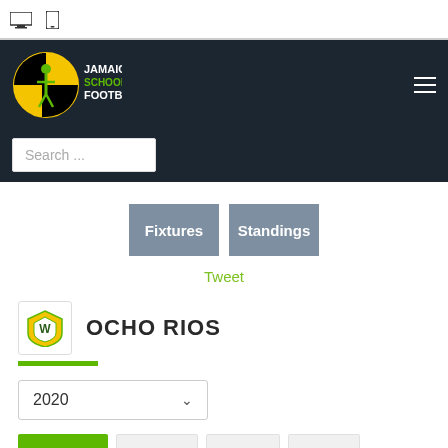Device selector icons
[Figure (screenshot): Jamaican Schoolboy Football website header with logo and hamburger menu on dark background]
Search ...
Fixtures
Standings
Tweet
OCHO RIOS
2020